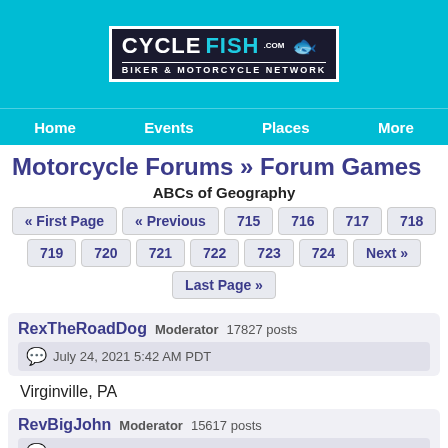[Figure (logo): CycleFish.com Biker & Motorcycle Network logo on teal background]
Home  Events  Places  More
Motorcycle Forums » Forum Games
ABCs of Geography
« First Page  « Previous  715  716  717  718  719  720  721  722  723  724  Next »  Last Page »
RexTheRoadDog  Moderator  17827 posts
July 24, 2021 5:42 AM PDT
Virginville, PA
RevBigJohn  Moderator  15617 posts
July 24, 2021 8:53 PM PDT